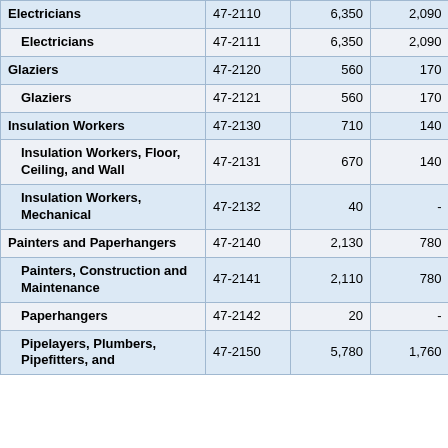| Occupation | SOC Code | Col3 | Col4 | Col5(partial) |
| --- | --- | --- | --- | --- |
| Electricians | 47-2110 | 6,350 | 2,090 |  |
| Electricians | 47-2111 | 6,350 | 2,090 |  |
| Glaziers | 47-2120 | 560 | 170 |  |
| Glaziers | 47-2121 | 560 | 170 |  |
| Insulation Workers | 47-2130 | 710 | 140 |  |
| Insulation Workers, Floor, Ceiling, and Wall | 47-2131 | 670 | 140 |  |
| Insulation Workers, Mechanical | 47-2132 | 40 | - |  |
| Painters and Paperhangers | 47-2140 | 2,130 | 780 |  |
| Painters, Construction and Maintenance | 47-2141 | 2,110 | 780 |  |
| Paperhangers | 47-2142 | 20 | - |  |
| Pipelayers, Plumbers, Pipefitters, and | 47-2150 | 5,780 | 1,760 |  |